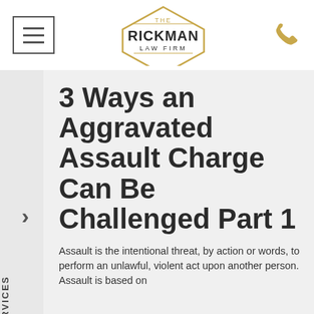[Figure (logo): The Rickman Law Firm hexagon logo with firm name in dark text]
3 Ways an Aggravated Assault Charge Can Be Challenged Part 1
Assault is the intentional threat, by action or words, to perform an unlawful, violent act upon another person. Assault is based on